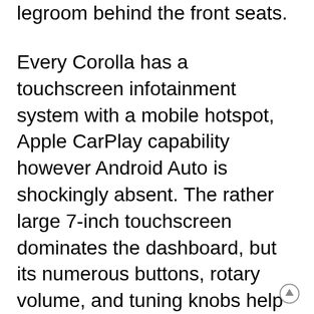legroom behind the front seats.
Every Corolla has a touchscreen infotainment system with a mobile hotspot, Apple CarPlay capability however Android Auto is shockingly absent. The rather large 7-inch touchscreen dominates the dashboard, but its numerous buttons, rotary volume, and tuning knobs help keep the driver’s eyes on the road during use. Top options include wireless charging and an upgraded JBL audio system.